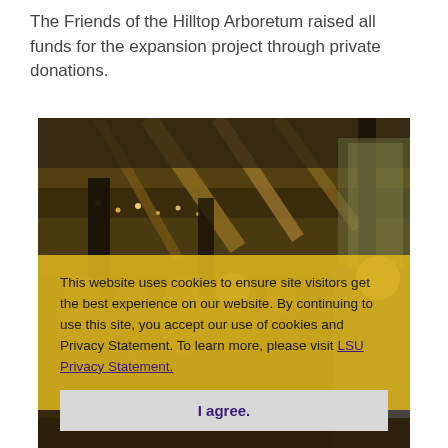The Friends of the Hilltop Arboretum raised all funds for the expansion project through private donations.
[Figure (photo): Group of people gathered inside a barn-style building with wooden beam ceiling and string lights. A cookie consent overlay partially covers the lower portion of the image.]
This website uses cookies to ensure site visitors get the best experience on our website. By continuing to use this site, you accept our use of cookies and Privacy Statement. To learn more, please visit LSU Privacy Statement.
I agree.